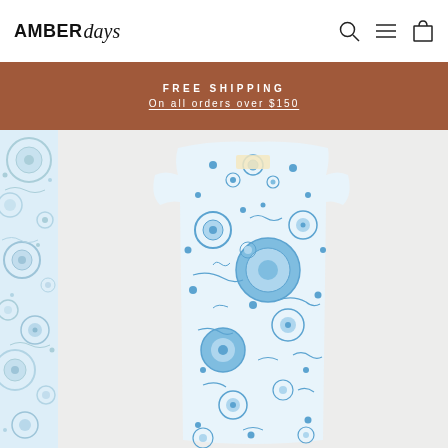AMBER days — navigation with search, menu, and cart icons
FREE SHIPPING
On all orders over $150
[Figure (photo): Blue and white abstract floral/organic print sleeveless tank top/dress laid flat on a light grey background, with a partial blue patterned fabric visible on the left side]